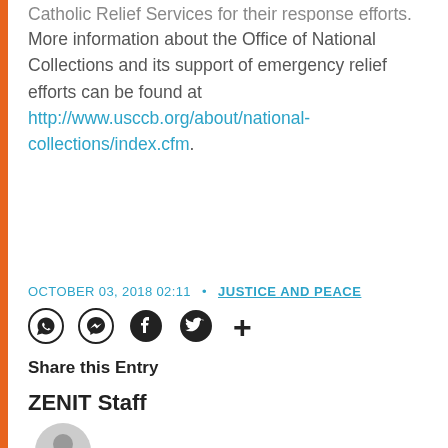Catholic Relief Services for their response efforts.
More information about the Office of National Collections and its support of emergency relief efforts can be found at http://www.usccb.org/about/national-collections/index.cfm.
OCTOBER 03, 2018 02:11 • JUSTICE AND PEACE
[Figure (infographic): Social sharing icons: WhatsApp, Facebook Messenger, Facebook, Twitter, and a plus/more button]
Share this Entry
ZENIT Staff
[Figure (illustration): Generic user avatar icon, gray silhouette of a person in a circle]